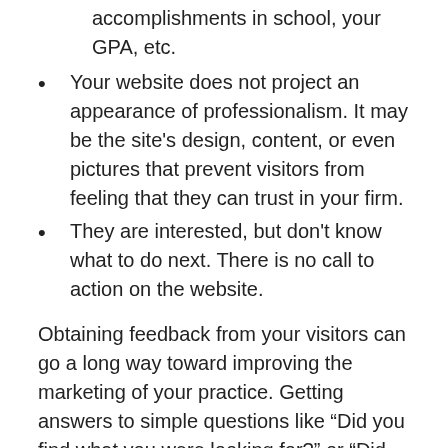accomplishments in school, your GPA, etc.
Your website does not project an appearance of professionalism. It may be the site's design, content, or even pictures that prevent visitors from feeling that they can trust in your firm.
They are interested, but don't know what to do next. There is no call to action on the website.
Obtaining feedback from your visitors can go a long way toward improving the marketing of your practice. Getting answers to simple questions like “Did you find what you were looking for?” or “Did the website answer your questions?” can help you make informative decisions about how to improve a visitor’s experience. This, in turn, can increase the